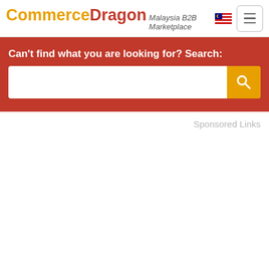CommerceDragon Malaysia B2B Marketplace
Can't find what you are looking for? Search:
Sponsored Links